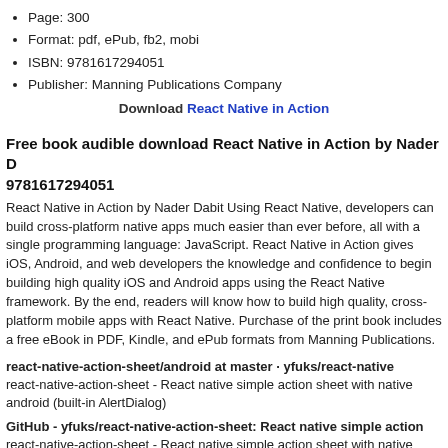Page: 300
Format: pdf, ePub, fb2, mobi
ISBN: 9781617294051
Publisher: Manning Publications Company
Download React Native in Action
Free book audible download React Native in Action by Nader D 9781617294051
React Native in Action by Nader Dabit Using React Native, developers can build cross-platform native apps much easier than ever before, all with a single programming language: JavaScript. React Native in Action gives iOS, Android, and web developers the knowledge and confidence to begin building high quality iOS and Android apps using the React Native framework. By the end, readers will know how to build high quality, cross-platform mobile apps with React Native. Purchase of the print book includes a free eBook in PDF, Kindle, and ePub formats from Manning Publications.
react-native-action-sheet/android at master · yfuks/react-native
react-native-action-sheet - React native simple action sheet with native android (built-in AlertDialog)
GitHub - yfuks/react-native-action-sheet: React native simple action
react-native-action-sheet - React native simple action sheet with native android (built-in AlertDialog)
react-native-action-sheet-module - npm
https://www.npmjs.com/package/react-native-action-sheet-module